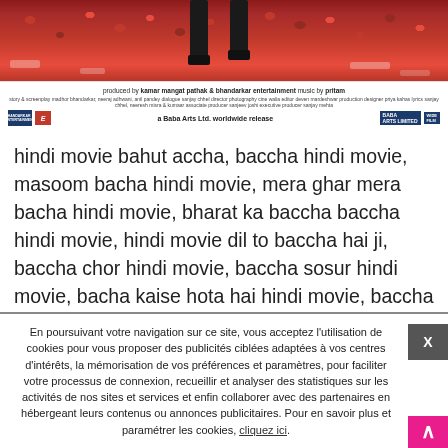[Figure (photo): Movie banner/poster showing roses and feet, with film credits at the bottom including 'a Baba Arts Ltd. worldwide release', produced by kamar mangat pathak & bhandarkar entertainment, music by pritam]
hindi movie bahut accha, baccha hindi movie, masoom bacha hindi movie, mera ghar mera bacha hindi movie, bharat ka baccha baccha hindi movie, hindi movie dil to baccha hai ji, baccha chor hindi movie, baccha sosur hindi movie, bacha kaise hota hai hindi movie, baccha sosur full movie in hindi, baccha hindi film, baccha film hindi mein, bacha hai ji ...
En poursuivant votre navigation sur ce site, vous acceptez l'utilisation de cookies pour vous proposer des publicités ciblées adaptées à vos centres d'intérêts, la mémorisation de vos préférences et paramètres, pour faciliter votre processus de connexion, recueillir et analyser des statistiques sur les activités de nos sites et services et enfin collaborer avec des partenaires en hébergeant leurs contenus ou annonces publicitaires. Pour en savoir plus et paramétrer les cookies, cliquez ici.